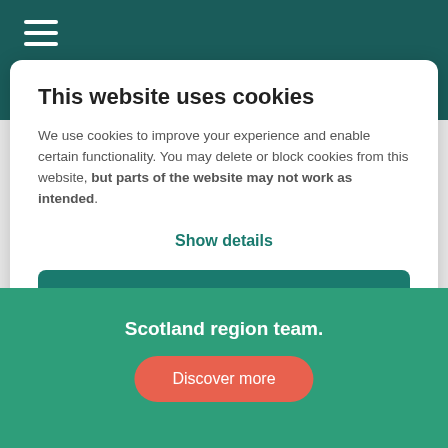We'll help you sell your home in 3 easy steps...
This website uses cookies
We use cookies to improve your experience and enable certain functionality. You may delete or block cookies from this website, but parts of the website may not work as intended.
Show details
Allow all
Scotland region team.
Discover more